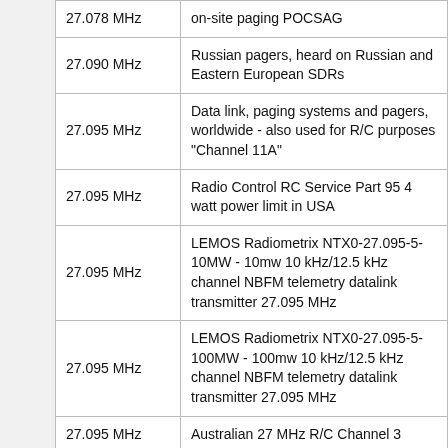| Frequency | Description |
| --- | --- |
| 27.078 MHz | on-site paging POCSAG |
| 27.090 MHz | Russian pagers, heard on Russian and Eastern European SDRs |
| 27.095 MHz | Data link, paging systems and pagers, worldwide - also used for R/C purposes "Channel 11A" |
| 27.095 MHz | Radio Control RC Service Part 95 4 watt power limit in USA |
| 27.095 MHz | LEMOS Radiometrix NTX0-27.095-5-10MW - 10mw 10 kHz/12.5 kHz channel NBFM telemetry datalink transmitter 27.095 MHz |
| 27.095 MHz | LEMOS Radiometrix NTX0-27.095-5-100MW - 100mw 10 kHz/12.5 kHz channel NBFM telemetry datalink transmitter 27.095 MHz |
| 27.095 MHz | Australian 27 MHz R/C Channel 3 |